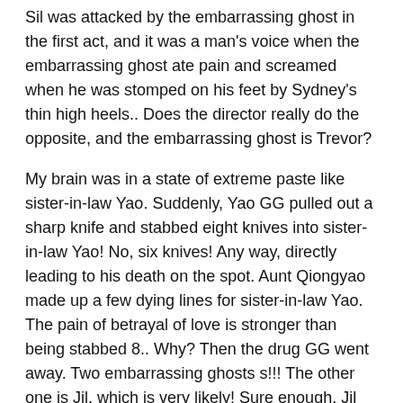Sil was attacked by the embarrassing ghost in the first act, and it was a man's voice when the embarrassing ghost ate pain and screamed when he was stomped on his feet by Sydney's thin high heels.. Does the director really do the opposite, and the embarrassing ghost is Trevor?
My brain was in a state of extreme paste like sister-in-law Yao. Suddenly, Yao GG pulled out a sharp knife and stabbed eight knives into sister-in-law Yao! No, six knives! Any way, directly leading to his death on the spot. Aunt Qiongyao made up a few dying lines for sister-in-law Yao. The pain of betrayal of love is stronger than being stabbed 8.. Why? Then the drug GG went away. Two embarrassing ghosts s!!! The other one is Jil, which is very likely! Sure enough, Jil finally took off his mask and shot his ex boyfriend's egg (as an adolescent male, I feel so painful.)
Since the killer was announced in advance, it can be seen